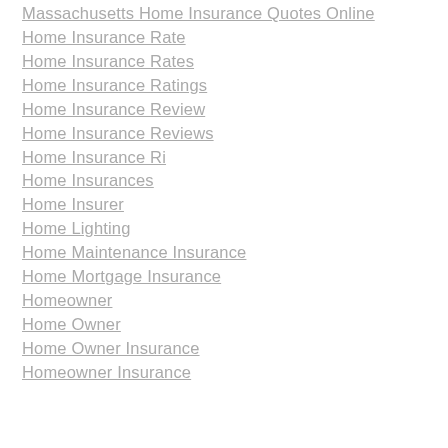Massachusetts Home Insurance Quotes Online
Home Insurance Rate
Home Insurance Rates
Home Insurance Ratings
Home Insurance Review
Home Insurance Reviews
Home Insurance Ri
Home Insurances
Home Insurer
Home Lighting
Home Maintenance Insurance
Home Mortgage Insurance
Homeowner
Home Owner
Home Owner Insurance
Homeowner Insurance